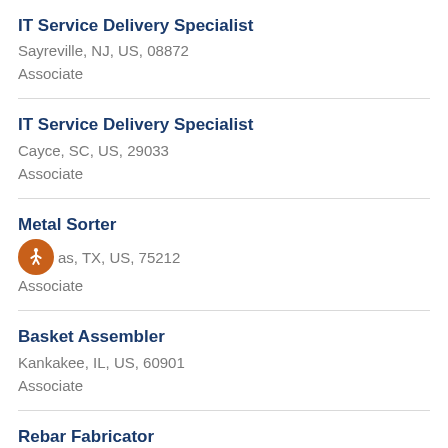IT Service Delivery Specialist
Sayreville, NJ, US, 08872
Associate
IT Service Delivery Specialist
Cayce, SC, US, 29033
Associate
Metal Sorter
Dallas, TX, US, 75212
Associate
Basket Assembler
Kankakee, IL, US, 60901
Associate
Rebar Fabricator
Kankakee, IL, US, 60901
Associate